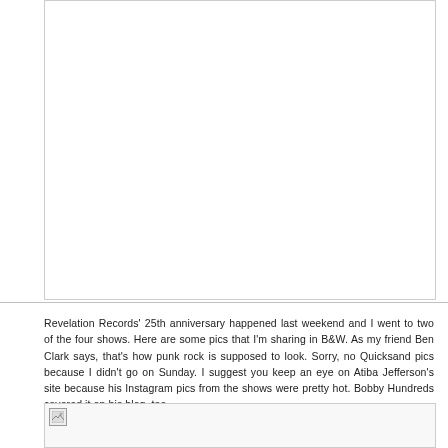[Figure (photo): Empty white image placeholder box at top of page]
Revelation Records' 25th anniversary happened last weekend and I went to two of the four shows. Here are some pics that I'm sharing in B&W. As my friend Ben Clark says, that's how punk rock is supposed to look. Sorry, no Quicksand pics because I didn't go on Sunday. I suggest you keep an eye on Atiba Jefferson's site because his Instagram pics from the shows were pretty hot. Bobby Hundreds covered it on his blog, too.
[Figure (photo): Broken image placeholder at bottom of page]